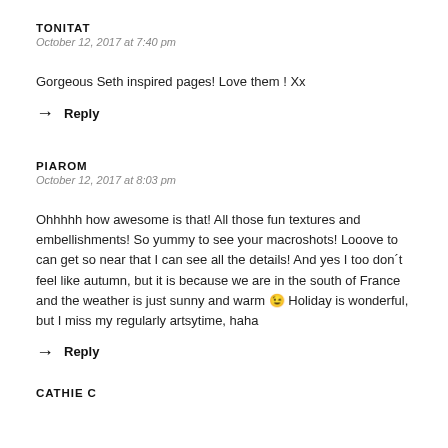TONITAT
October 12, 2017 at 7:40 pm
Gorgeous Seth inspired pages! Love them ! Xx
Reply
PIAROM
October 12, 2017 at 8:03 pm
Ohhhhh how awesome is that! All those fun textures and embellishments! So yummy to see your macroshots! Looove to can get so near that I can see all the details! And yes I too don't feel like autumn, but it is because we are in the south of France and the weather is just sunny and warm 😉 Holiday is wonderful, but I miss my regularly artsytime, haha
Reply
CATHIE C